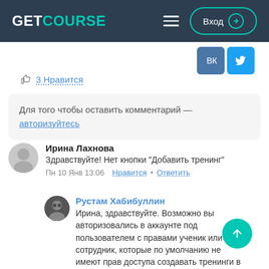GETCOURSE — Вход
[Figure (logo): GetCourse logo with VK and Twitter social share buttons]
3 Нравится
Для того чтобы оставить комментарий — авторизуйтесь
Ирина Лахнова
Здравствуйте! Нет кнопки "Добавить тренинг"
Пн 10 Янв 13:06 Нравится • Ответить
Рустам Хабибуллин
Ирина, здравствуйте. Возможно вы авторизовались в аккаунте под пользователем с правами ученик или сотрудник, которые по умолчанию не имеют прав доступа создавать тренинги в